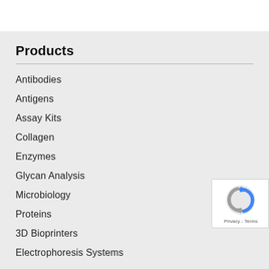Products
Antibodies
Antigens
Assay Kits
Collagen
Enzymes
Glycan Analysis
Microbiology
Proteins
3D Bioprinters
Electrophoresis Systems